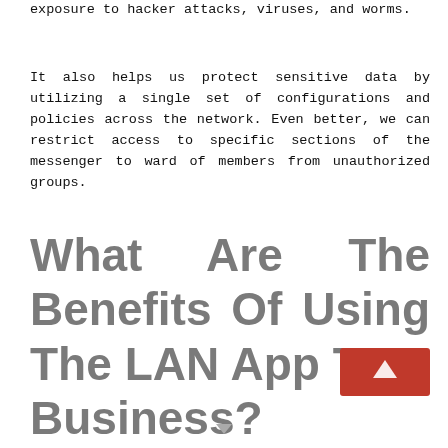exposure to hacker attacks, viruses, and worms.
It also helps us protect sensitive data by utilizing a single set of configurations and policies across the network. Even better, we can restrict access to specific sections of the messenger to ward of members from unauthorized groups.
What Are The Benefits Of Using The LAN App To A Business?
[Figure (other): Red rectangular button/badge element in bottom-right corner with a small white icon (upward arrow or similar)]